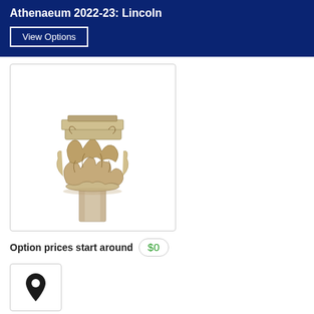Athenaeum 2022-23: Lincoln
View Options
[Figure (illustration): Pencil sketch illustration of a classical Corinthian column capital with ornate acanthus leaf carvings]
Option prices start around $0
[Figure (other): Location pin icon inside a bordered box]
This item has multiple variations.
Click View Options for details.
Description